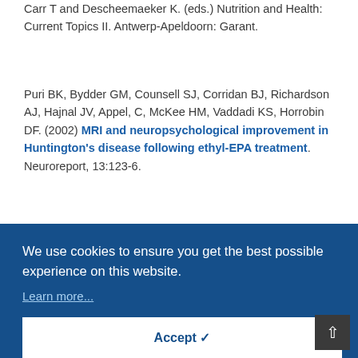Carr T and Descheemaeker K. (eds.) Nutrition and Health: Current Topics II. Antwerp-Apeldoorn: Garant.
Puri BK, Bydder GM, Counsell SJ, Corridan BJ, Richardson AJ, Hajnal JV, Appel, C, McKee HM, Vaddadi KS, Horrobin DF. (2002) MRI and neuropsychological improvement in Huntington's disease following ethyl-EPA treatment. Neuroreport, 13:123-6.
We use cookies to ensure you get the best possible experience on this website.
Learn more...
Accept ✔
dyslexia. In Roth I, Cooper T (eds). Challenging